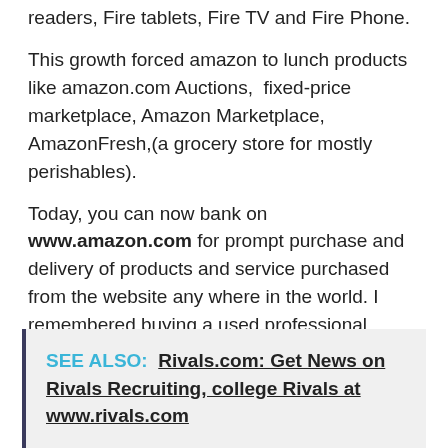readers, Fire tablets, Fire TV and Fire Phone.
This growth forced amazon to lunch products like amazon.com Auctions,  fixed-price marketplace, Amazon Marketplace,  AmazonFresh,(a grocery store for mostly perishables).
Today, you can now bank on www.amazon.com for prompt purchase and delivery of products and service purchased from the website any where in the world. I remembered buying a used professional camera from the amazon.com. I was having an event to cover that same week.
SEE ALSO:  Rivals.com: Get News on Rivals Recruiting, college Rivals at www.rivals.com